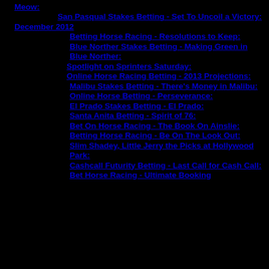Meow:
San Pasqual Stakes Betting - Set To Uncoil a Victory:
December 2012
Betting Horse Racing - Resolutions to Keep:
Blue Norther Stakes Betting - Making Green in Blue Norther:
Spotlight on Sprinters Saturday:
Online Horse Racing Betting - 2013 Projections:
Malibu Stakes Betting - There’s Money in Malibu:
Online Horse Betting - Perseverance:
El Prado Stakes Betting - El Prado:
Santa Anita Betting - Spirit of 76:
Bet On Horse Racing - The Book On Ainslie:
Betting Horse Racing - Be On The Look Out:
Slim Shadey, Little Jerry the Picks at Hollywood Park:
Cashcall Futurity Betting - Last Call for Cash Call:
Bet Horse Racing - Ultimate Booking